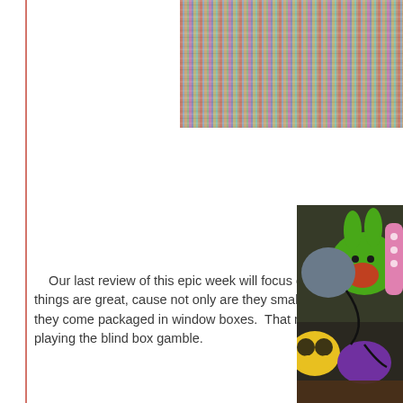[Figure (photo): Colorful woven textile fabric with vertical stripes in multiple colors including red, blue, green, pink — shown in the top right portion of the page, partially cropped.]
Our last review of this epic week will focus on the Cute and C things are great, cause not only are they small and adorable ar they come packaged in window boxes. That means you can pi playing the blind box gamble.
[Figure (photo): A group of small plush toy figures including a green bunny/rabbit character, a yellow spotted figure, a purple figure, and a pink bumpy figure, arranged together on a dark surface.]